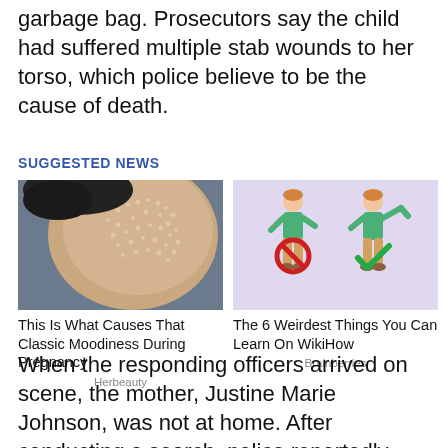garbage bag. Prosecutors say the child had suffered multiple stab wounds to her torso, which police believe to be the cause of death.
SUGGESTED NEWS
[Figure (photo): Photo of a person's bare upper back/shoulder showing textured skin markings]
This Is What Causes That Classic Moodiness During Pregnancy
Herbeauty
[Figure (illustration): Illustration of two cartoon figures: left figure with a red prohibition circle (no symbol), right figure with a green checkmark]
The 6 Weirdest Things You Can Learn On WikiHow
Brainberries
When the responding officers arrived on scene, the mother, Justine Marie Johnson, was not at home. After conducting a search, police reportedly found her four and a half hours later, at approximately